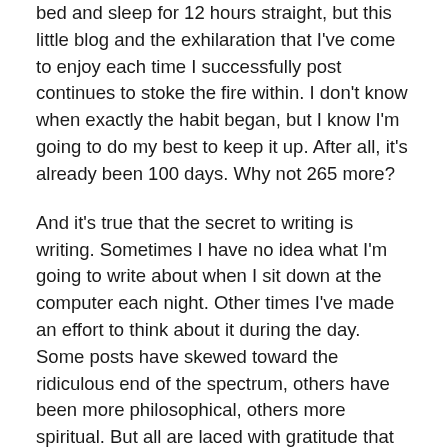bed and sleep for 12 hours straight, but this little blog and the exhilaration that I've come to enjoy each time I successfully post continues to stoke the fire within. I don't know when exactly the habit began, but I know I'm going to do my best to keep it up. After all, it's already been 100 days. Why not 265 more?
And it's true that the secret to writing is writing. Sometimes I have no idea what I'm going to write about when I sit down at the computer each night. Other times I've made an effort to think about it during the day. Some posts have skewed toward the ridiculous end of the spectrum, others have been more philosophical, others more spiritual. But all are laced with gratitude that comes from setting down a word here and a word there, and before I know it, all the words have formed a path that leads to my daily thing, event or person that I'm thankful for.